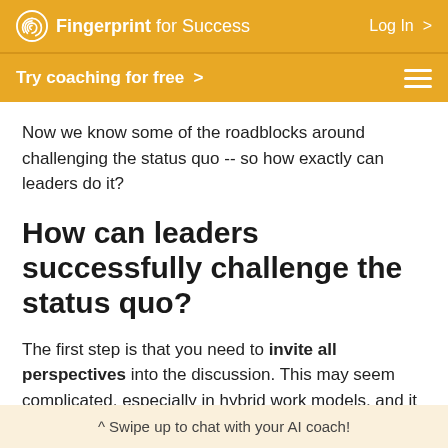Fingerprint for Success  Log In >
Try coaching for free >
Now we know some of the roadblocks around challenging the status quo -- so how exactly can leaders do it?
How can leaders successfully challenge the status quo?
The first step is that you need to invite all perspectives into the discussion. This may seem complicated, especially in hybrid work models, and it
^ Swipe up to chat with your AI coach!